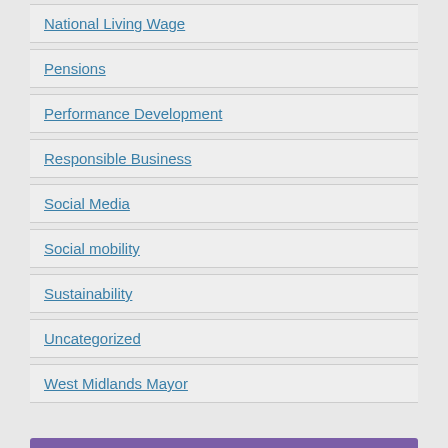National Living Wage
Pensions
Performance Development
Responsible Business
Social Media
Social mobility
Sustainability
Uncategorized
West Midlands Mayor